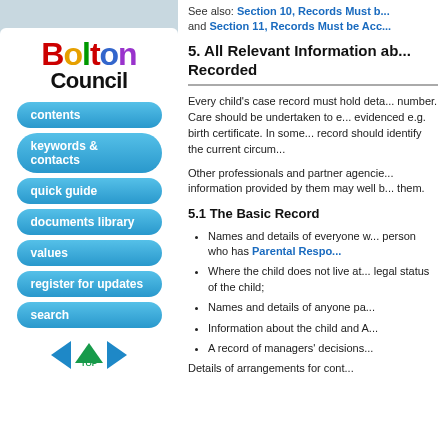See also: Section 10, Records Must b... and Section 11, Records Must be Acc...
5. All Relevant Information ab... Recorded
Every child's case record must hold deta... number. Care should be undertaken to e... evidenced e.g. birth certificate. In some... record should identify the current circum...
Other professionals and partner agencie... information provided by them may well b... them.
5.1 The Basic Record
Names and details of everyone w... person who has Parental Respo...
Where the child does not live at... legal status of the child;
Names and details of anyone pa...
Information about the child and A...
A record of managers' decisions...
Details of arrangements for cont...
[Figure (logo): Bolton Council logo with colorful letters spelling Bolton and bold black Council text]
contents
keywords & contacts
quick guide
documents library
values
register for updates
search